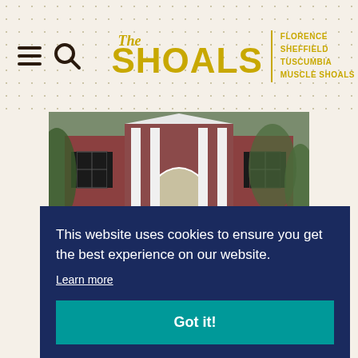[Figure (screenshot): Website header with hamburger menu icon, search icon, and 'The SHOALS' logo with cities: Florence, Sheffield, Tuscumbia, Muscle Shoals on a dotted cream background]
[Figure (photo): Photograph of a red brick building with white columns and a white portico entrance, surrounded by trees and green lawn]
History
This website uses cookies to ensure you get the best experience on our website.
Learn more
Got it!